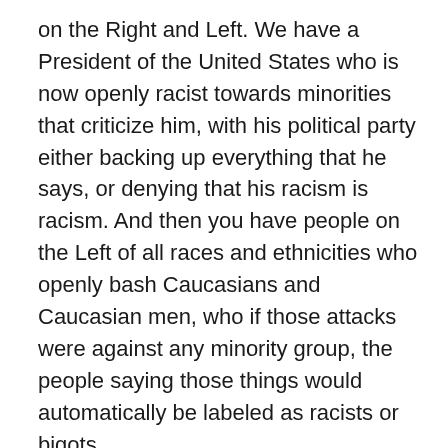on the Right and Left. We have a President of the United States who is now openly racist towards minorities that criticize him, with his political party either backing up everything that he says, or denying that his racism is racism. And then you have people on the Left of all races and ethnicities who openly bash Caucasians and Caucasian men, who if those attacks were against any minority group, the people saying those things would automatically be labeled as racists or bigots.

Back in the 1990s which now seems like over 20 years ago, ( ha, ha ) we as a country and society where race and ethnicity actually started not mattering, where people of all races were not being judged by their race and ethnicity, where Americans even minorities didn't feel the need to identity themselves by the things that's most obviously not obvious about them, other than their